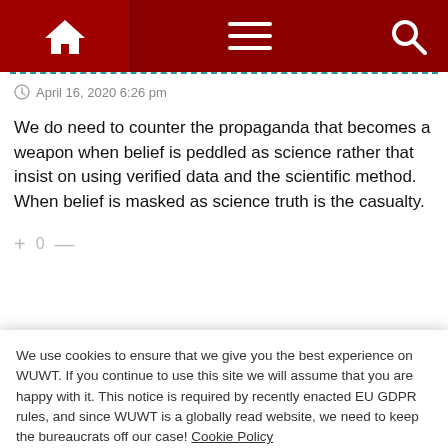[Figure (screenshot): Website navigation bar with dark red background, home icon, hamburger menu icon, and search icon]
April 16, 2020 6:26 pm
We do need to counter the propaganda that becomes a weapon when belief is peddled as science rather that insist on using verified data and the scientific method. When belief is masked as science truth is the casualty.
+ 0 —
We use cookies to ensure that we give you the best experience on WUWT. If you continue to use this site we will assume that you are happy with it. This notice is required by recently enacted EU GDPR rules, and since WUWT is a globally read website, we need to keep the bureaucrats off our case! Cookie Policy
Close and accept
actually attempt to stop, throttle, and boycott those telling it.